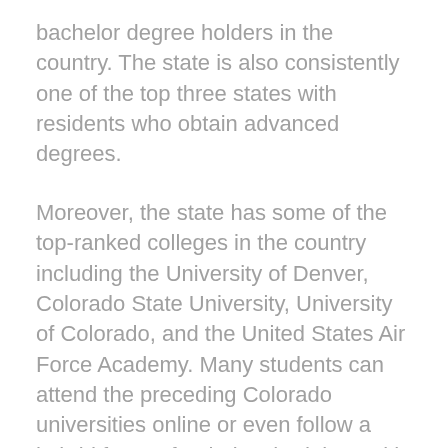bachelor degree holders in the country. The state is also consistently one of the top three states with residents who obtain advanced degrees.
Moreover, the state has some of the top-ranked colleges in the country including the University of Denver, Colorado State University, University of Colorado, and the United States Air Force Academy. Many students can attend the preceding Colorado universities online or even follow a hybrid format for their schedules. With a hybrid schedule, the student will take only a few of their classes on campus with the rest being accessed online. State colleges and universities recognize that the online format appeals to working adults and those located in rural areas of the state.